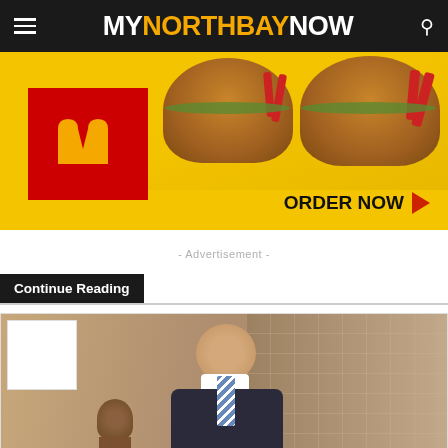MY NORTH BAY NOW
[Figure (photo): McDonald's advertisement banner showing chicken sandwiches on yellow background with McDonald's red box logo and ORDER NOW call to action]
- Advertisement -
Continue Reading
[Figure (photo): A smiling man in a suit standing next to a bronze bust statue, in front of a glass block wall background]